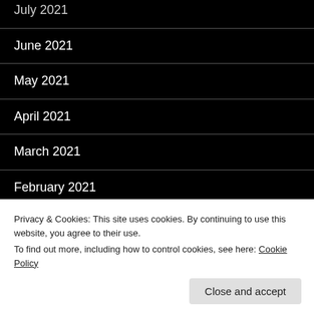July 2021
June 2021
May 2021
April 2021
March 2021
February 2021
January 2021
December 2020
November 2020
October 2020 (partially visible)
Privacy & Cookies: This site uses cookies. By continuing to use this website, you agree to their use. To find out more, including how to control cookies, see here: Cookie Policy
Close and accept